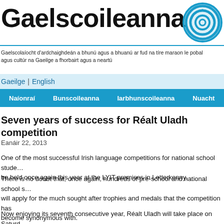Gaelscoileanna
Gaelscolaíocht d'ardchaighdeán a bhunú agus a bhuanú ar fud na tíre maraon le pobal agus cultúr na Gaeilge a fhorbairt agus a neartú
Gaeilge | English
Naíonraí  Bunscoileanna  Iarbhunscoileanna  Nuacht  Sco…
Seven years of success for Réalt Uladh competition
Eanáir 22, 2013
One of the most successful Irish language competitions for national school students will be held once again this year at the LYIT premises in Letterkenny.
There is no doubt that, once again, hundreds of pre-school and national school students will apply for the much sought after trophies and medals that the competition has become synonymous with.
Now enjoying its seventh consecutive year, Réalt Uladh will take place on Saturday…